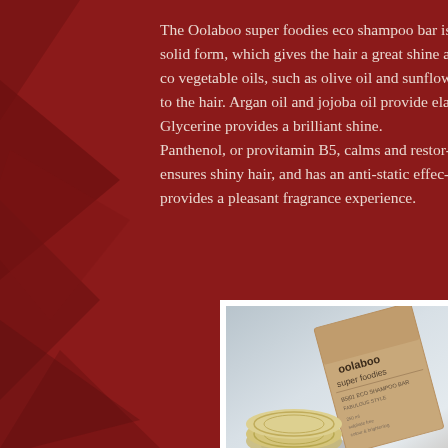The Oolaboo super foodies eco shampoo bar is in solid form, which gives the hair a great shine and condition. vegetable oils, such as olive oil and sunflower to the hair. Argan oil and jojoba oil provide ela Glycerine provides a brilliant shine. Panthenol, or provitamin B5, calms and restores ensures shiny hair, and has an anti-static effect provides a pleasant fragrance experience.
[Figure (photo): Photo of Oolaboo super foodies eco shampoo bar product in kraft paper box packaging, with a round shampoo bar visible in the foreground, on a light grey/white background.]